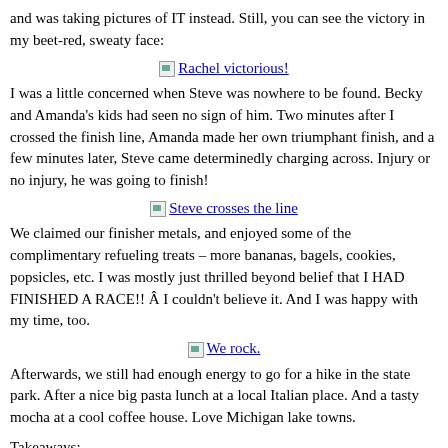and was taking pictures of IT instead. Still, you can see the victory in my beet-red, sweaty face:
[Figure (photo): Broken image placeholder link labeled 'Rachel victorious!']
I was a little concerned when Steve was nowhere to be found. Becky and Amanda's kids had seen no sign of him. Two minutes after I crossed the finish line, Amanda made her own triumphant finish, and a few minutes later, Steve came determinedly charging across. Injury or no injury, he was going to finish!
[Figure (photo): Broken image placeholder link labeled 'Steve crosses the line']
We claimed our finisher metals, and enjoyed some of the complimentary refueling treats – more bananas, bagels, cookies, popsicles, etc. I was mostly just thrilled beyond belief that I HAD FINISHED A RACE!! Â I couldn't believe it. And I was happy with my time, too.
[Figure (photo): Broken image placeholder link labeled 'We rock.']
Afterwards, we still had enough energy to go for a hike in the state park. After a nice big pasta lunch at a local Italian place. And a tasty mocha at a cool coffee house. Love Michigan lake towns.
Takeaways: